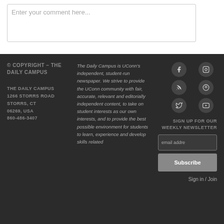Enter your comment here...
© COPYRIGHT – THE DAILY CAMPUS
THE DAILY CAMPUS
1266 STORRS ROAD
STORRS, CT
06269, USA
860-486-3407
The Daily Campus is UConn's independent, student-run newspaper. We strive to provide the UConn community with fair, accurate, relevant and editorially independent content, to take on student interests as our own interests, and to provide the best possible environment for students to learn, experience and develop skills related
[Figure (other): Social media icons: Facebook, Instagram, RSS, Spotify, Twitter, YouTube]
SIGN UP FOR OUR WEEKLY NEWSLETTER
email address
Subscribe
Sign in / Join